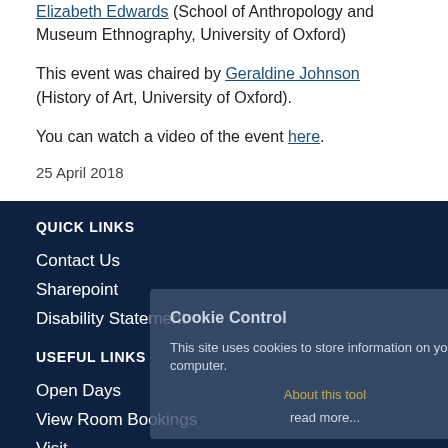Elizabeth Edwards (School of Anthropology and Museum Ethnography, University of Oxford)
This event was chaired by Geraldine Johnson (History of Art, University of Oxford).
You can watch a video of the event here.
25 April 2018
QUICK LINKS
Contact Us
Sharepoint
Disability Statement
USEFUL LINKS
Open Days
View Room Bookings
Visit...